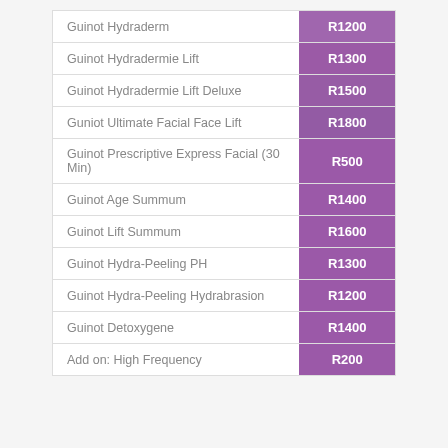| Service | Price |
| --- | --- |
| Guinot Hydraderm | R1200 |
| Guinot Hydradermie Lift | R1300 |
| Guinot Hydradermie Lift Deluxe | R1500 |
| Guniot Ultimate Facial Face Lift | R1800 |
| Guinot Prescriptive Express Facial (30 Min) | R500 |
| Guinot Age Summum | R1400 |
| Guinot Lift Summum | R1600 |
| Guinot Hydra-Peeling PH | R1300 |
| Guinot Hydra-Peeling Hydrabrasion | R1200 |
| Guinot Detoxygene | R1400 |
| Add on: High Frequency | R200 |